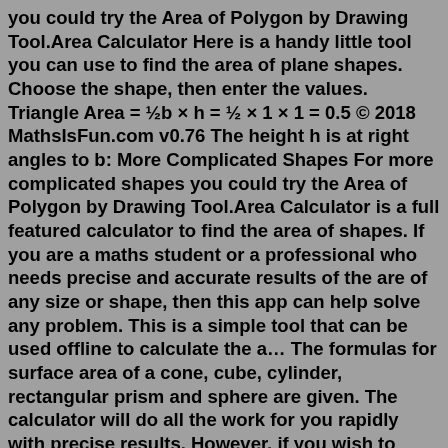you could try the Area of Polygon by Drawing Tool.Area Calculator Here is a handy little tool you can use to find the area of plane shapes. Choose the shape, then enter the values. Triangle Area = ½b × h = ½ × 1 × 1 = 0.5 © 2018 MathsIsFun.com v0.76 The height h is at right angles to b: More Complicated Shapes For more complicated shapes you could try the Area of Polygon by Drawing Tool.Area Calculator is a full featured calculator to find the area of shapes. If you are a maths student or a professional who needs precise and accurate results of the are of any size or shape, then this app can help solve any problem. This is a simple tool that can be used offline to calculate the a… The formulas for surface area of a cone, cube, cylinder, rectangular prism and sphere are given. The calculator will do all the work for you rapidly with precise results. However, if you wish to calculate manually, the formulas will be handy. Also, an example of how to calculate the surface area of a cylinder is provided. Volume and Surface ... Examples: find the area of a triangle. Example 1: